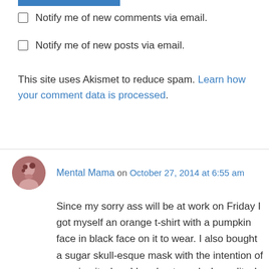Notify me of new comments via email.
Notify me of new posts via email.
This site uses Akismet to reduce spam. Learn how your comment data is processed.
Mental Mama on October 27, 2014 at 6:55 am
Since my sorry ass will be at work on Friday I got myself an orange t-shirt with a pumpkin face in black face on it to wear. I also bought a sugar skull-esque mask with the intention of wearing it when I hand out candy. In reality, I got it because it's cool as fuck. And the only thing I really like about carving pumpkins is cooking the seeds so